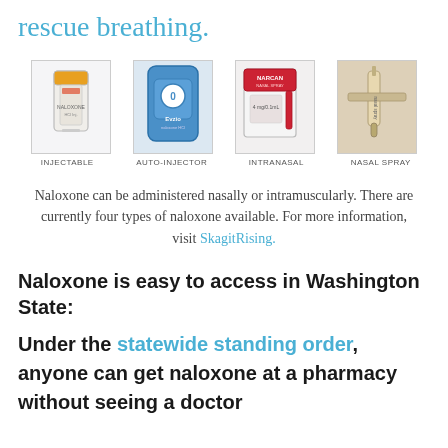rescue breathing.
[Figure (photo): Four types of naloxone products shown side by side: Injectable (vial), Auto-Injector (Evzio device), Intranasal (Narcan nasal spray box), and Nasal Spray (syringe-style device). Each is labeled below.]
INJECTABLE    AUTO-INJECTOR    INTRANASAL    NASAL SPRAY
Naloxone can be administered nasally or intramuscularly. There are currently four types of naloxone available. For more information, visit SkagitRising.
Naloxone is easy to access in Washington State:
Under the statewide standing order, anyone can get naloxone at a pharmacy without seeing a doctor first.